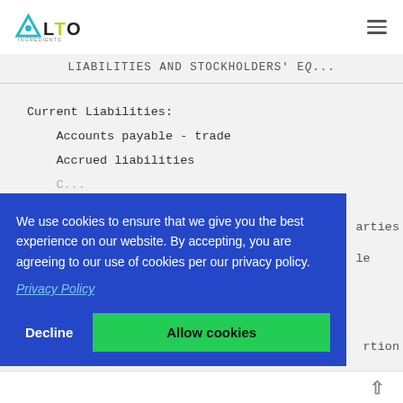Alto Ingredients — Navigation header with logo and menu
LIABILITIES AND STOCKHOLDERS' EQ...
Current Liabilities:
    Accounts payable - trade
    Accrued liabilities
...arties...
...le...
...rtion
We use cookies to ensure that we give you the best experience on our website. By accepting, you are agreeing to our use of cookies per our privacy policy.
Privacy Policy
Decline    Allow cookies
↑